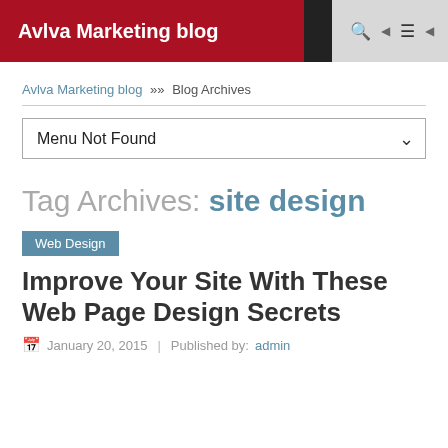Avlva Marketing blog
Avlva Marketing blog >> Blog Archives
Menu Not Found
Tag Archives: site design
Web Design
Improve Your Site With These Web Page Design Secrets
January 20, 2015 | Published by: admin